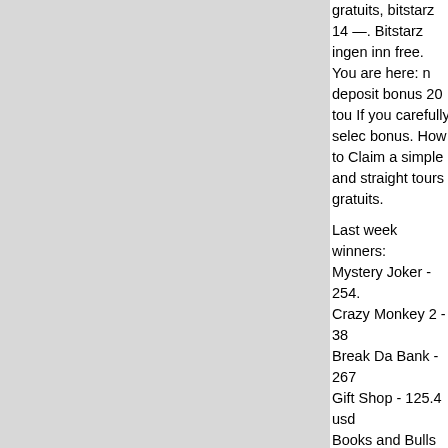gratuits, bitstarz 14 —. Bitstarz ingen inn free. You are here: n deposit bonus 20 tou If you carefully selec bonus. How to Claim a simple and straight tours gratuits.
Last week winners: Mystery Joker - 254. Crazy Monkey 2 - 38 Break Da Bank - 267 Gift Shop - 125.4 usd Books and Bulls Rec The Legend Of Nezh Jewels - 29.1 dog Dolphins Treasure - Wild Water - 211.5 lt Casanova - 690.9 dc Joker Spin - 374 btc Puppy Payday - 621